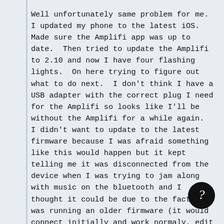Well unfortunately same problem for me.  I updated my phone to the latest iOS.  Made sure the Amplifi app was up to date.  Then tried to update the Amplifi to 2.10 and now I have four flashing lights.  On here trying to figure out what to do next.  I don't think I have a USB adapter with the correct plug I need for the Amplifi so looks like I'll be without the Amplifi for a while again.  I didn't want to update to the latest firmware because I was afraid something like this would happen but it kept telling me it was disconnected from the device when I was trying to jam along with music on the bluetooth and I thought it could be due to the fact I was running an older firmware (it would connect initially and work normaly, edit mode worked, but always after the first song finished playing it would tell me it's disconnected even though the next song started playing).  How can it be disconnected from the device when a song is playing from my phone via bluetooth??  Song is playing via bluetooth but the a isn't controlling the amp, tuner doesn't work, etc.  Anyway the frustration with this product continues...